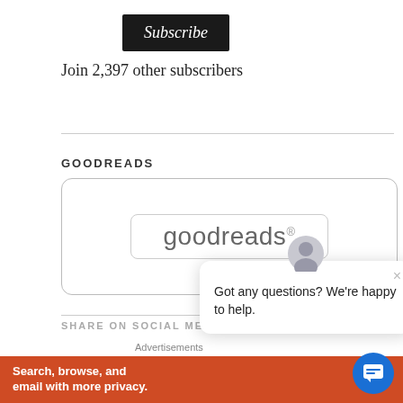[Figure (screenshot): Dark Subscribe button]
Join 2,397 other subscribers
GOODREADS
[Figure (logo): Goodreads logo in a rounded box widget]
SHARE ON SOCIAL ME...
Advertisements
[Figure (screenshot): DuckDuckGo advertisement banner: Search, browse, and email with more privacy. All in One Free App]
[Figure (screenshot): Chat widget overlay: Got any questions? We're happy to help. With close X button and user avatar icon.]